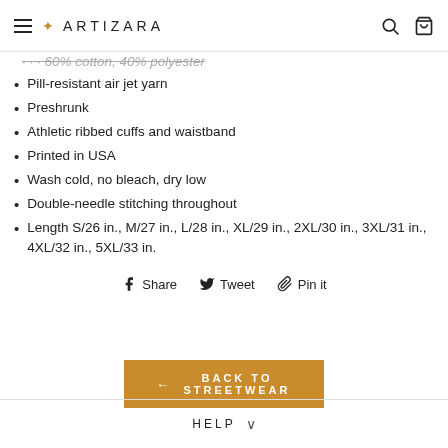ARTIZARA
Pill-resistant air jet yarn
Preshrunk
Athletic ribbed cuffs and waistband
Printed in USA
Wash cold, no bleach, dry low
Double-needle stitching throughout
Length S/26 in., M/27 in., L/28 in., XL/29 in., 2XL/30 in., 3XL/31 in., 4XL/32 in., 5XL/33 in.
Share  Tweet  Pin it
BACK TO STREETWEAR
HELP